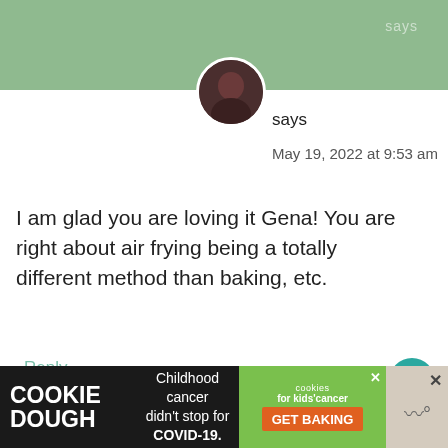[Figure (photo): Green header bar with partial user avatar/profile photo visible at bottom edge]
says
May 19, 2022 at 9:53 am
I am glad you are loving it Gena! You are right about air frying being a totally different method than baking, etc.
Reply
[Figure (infographic): Like button (heart icon) showing 463K likes and a share button below it]
[Figure (infographic): Cookie Dough advertisement banner: COOKIE DOUGH - Childhood cancer didn't stop for COVID-19. - cookies for kids cancer GET BAKING - with close X buttons]